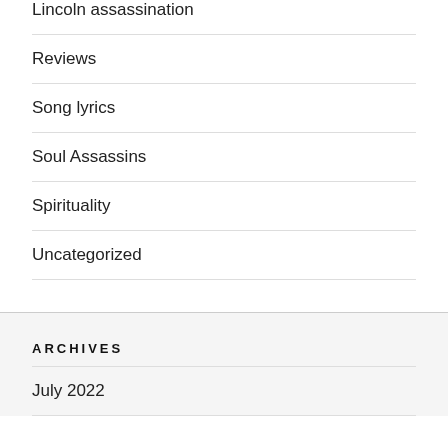Lincoln assassination
Reviews
Song lyrics
Soul Assassins
Spirituality
Uncategorized
ARCHIVES
July 2022